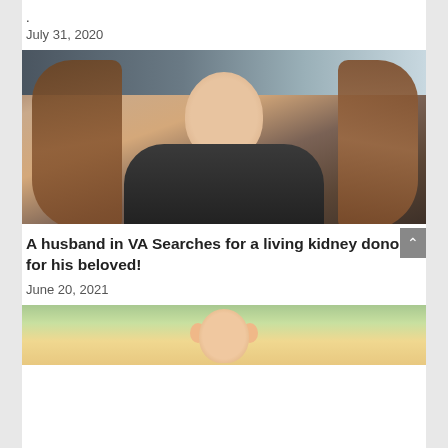.
July 31, 2020
[Figure (photo): A woman with long brown hair smiling, seated indoors at what appears to be a restaurant booth]
A husband in VA Searches for a living kidney donor for his beloved!
June 20, 2021
[Figure (photo): A young toddler child smiling, photo partially visible at bottom of page]